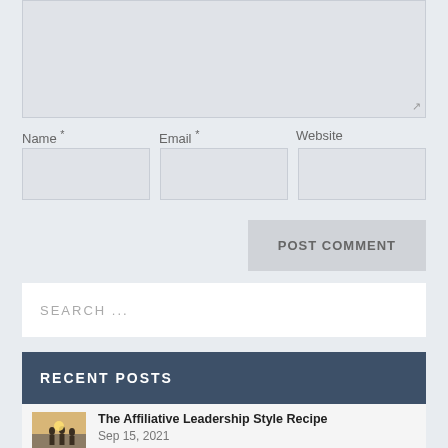[Figure (screenshot): Comment textarea input box (empty, grayed out)]
Name *
Email *
Website
[Figure (screenshot): Three form input fields: Name, Email, Website]
POST COMMENT
SEARCH ...
RECENT POSTS
The Affiliative Leadership Style Recipe
Sep 15, 2021